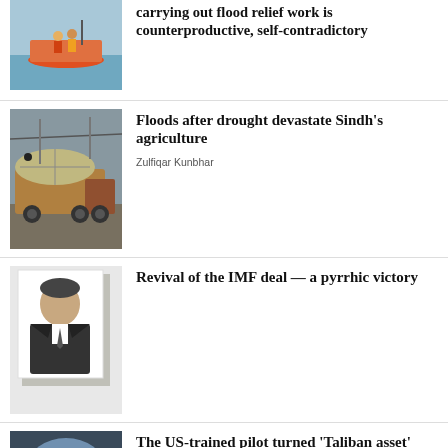carrying out flood relief work is counterproductive, self-contradictory
[Figure (photo): People on a boat in floodwater]
Floods after drought devastate Sindh's agriculture
Zulfiqar Kunbhar
[Figure (photo): A truck loaded with crops or goods]
Revival of the IMF deal — a pyrrhic victory
[Figure (photo): Portrait of a man in a suit]
The US-trained pilot turned 'Taliban asset'
Monitoring Desk
[Figure (photo): A pilot in a cockpit]